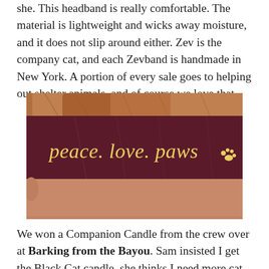she. This headband is really comfortable. The material is lightweight and wicks away moisture, and it does not slip around either. Zev is the company cat, and each Zevband is handmade in New York. A portion of every sale goes to helping out shelter animals, and of course we love that.
[Figure (photo): Photo of a person wearing a dark maroon/burgundy headband with the text 'peace. love. paws' written in yellow cursive lettering, with a small paw print icon.]
We won a Companion Candle from the crew over at Barking from the Bayou. Sam insisted I get the Black Cat candle, she thinks I need more cat stuff (I'm not sure I need any more dog or cat stuff)! This candle is an all-